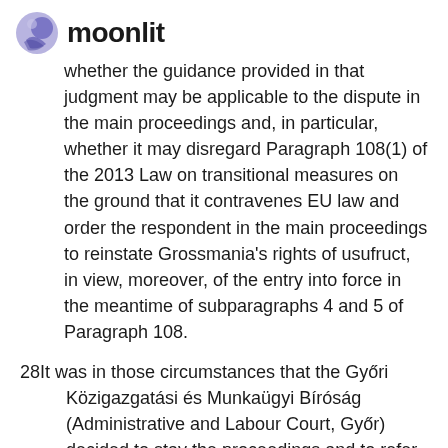moonlit
whether the guidance provided in that judgment may be applicable to the dispute in the main proceedings and, in particular, whether it may disregard Paragraph 108(1) of the 2013 Law on transitional measures on the ground that it contravenes EU law and order the respondent in the main proceedings to reinstate Grossmania's rights of usufruct, in view, moreover, of the entry into force in the meantime of subparagraphs 4 and 5 of Paragraph 108.
28It was in those circumstances that the Győri Közigazgatási és Munkaügyi Bíróság (Administrative and Labour Court, Győr) decided to stay the proceedings and to refer the following question to the Court of Justice